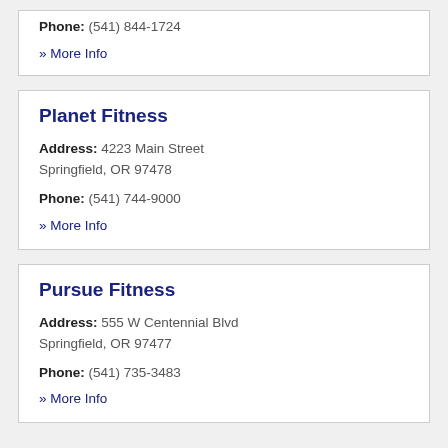Phone: (541) 844-1724
» More Info
Planet Fitness
Address: 4223 Main Street Springfield, OR 97478
Phone: (541) 744-9000
» More Info
Pursue Fitness
Address: 555 W Centennial Blvd Springfield, OR 97477
Phone: (541) 735-3483
» More Info